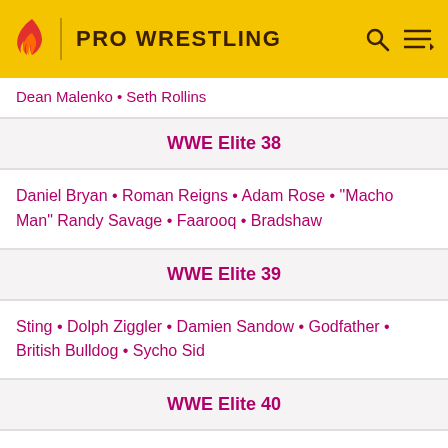PRO WRESTLING
Dean Malenko • Seth Rollins
WWE Elite 38
Daniel Bryan • Roman Reigns • Adam Rose • "Macho Man" Randy Savage • Faarooq • Bradshaw
WWE Elite 39
Sting • Dolph Ziggler • Damien Sandow • Godfather • British Bulldog • Sycho Sid
WWE Elite 40
John Cena • Tyson Kidd • Sami Zayn • IRS • Rick Rude • Umaga